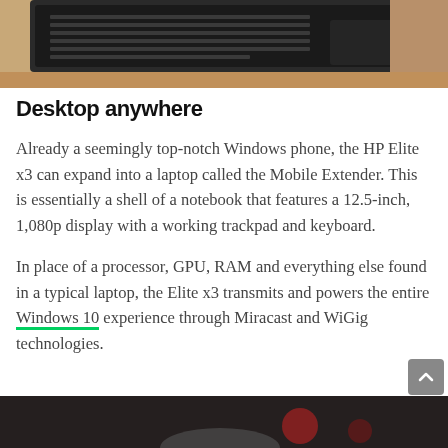[Figure (photo): Top portion of a laptop computer viewed from above, sitting on a textured surface]
Desktop anywhere
Already a seemingly top-notch Windows phone, the HP Elite x3 can expand into a laptop called the Mobile Extender. This is essentially a shell of a notebook that features a 12.5-inch, 1,080p display with a working trackpad and keyboard.
In place of a processor, GPU, RAM and everything else found in a typical laptop, the Elite x3 transmits and powers the entire Windows 10 experience through Miracast and WiGig technologies.
[Figure (photo): Bottom portion of a photo showing a blurred scene, partially visible at the bottom of the page]